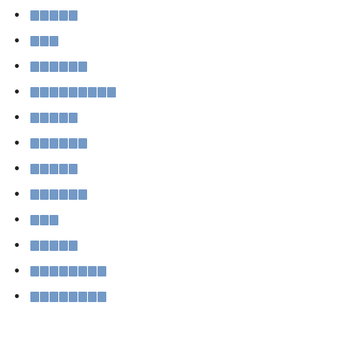█████
███
██████
█████████
█████
██████
█████
██████
███
█████
████████
████████